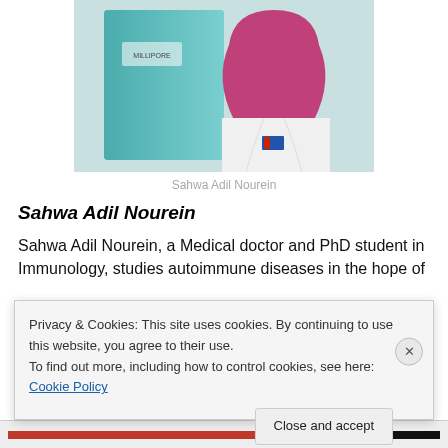[Figure (photo): Photo of Sahwa Adil Nourein, a woman wearing a pink hijab and white lab coat, standing next to laboratory equipment including a Millipore filtration device.]
Sahwa Adil Nourein
Sahwa Adil Nourein
Sahwa Adil Nourein, a Medical doctor and PhD student in Immunology, studies autoimmune diseases in the hope of
Privacy & Cookies: This site uses cookies. By continuing to use this website, you agree to their use.
To find out more, including how to control cookies, see here: Cookie Policy